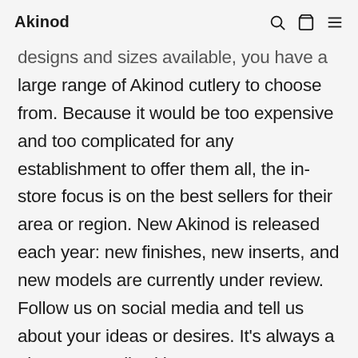Akinod
designs and sizes available, you have a large range of Akinod cutlery to choose from. Because it would be too expensive and too complicated for any establishment to offer them all, the in-store focus is on the best sellers for their area or region. New Akinod is released each year: new finishes, new inserts, and new models are currently under review. Follow us on social media and tell us about your ideas or desires. It’s always a pleasure to talk with you.